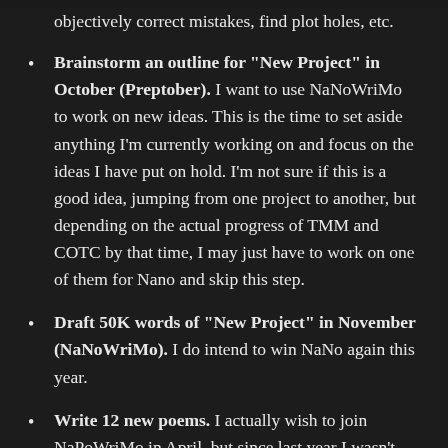objectively correct mistakes, find plot holes, etc.
Brainstorm an outline for “New Project” in October (Preptober). I want to use NaNoWriMo to work on new ideas. This is the time to set aside anything I’m currently working on and focus on the ideas I have put on hold. I’m not sure if this is a good idea, jumping from one project to another, but depending on the actual progress of TMM and COTC by that time, I may just have to work on one of them for Nano and skip this step.
Draft 50K words of “New Project” in November (NaNoWriMo). I do intend to win NaNo again this year.
Write 12 new poems. I actually wish to join NaPoWriMo in April, but since last year I wasn’t even able to write 12 poems, I’ll just repeat that goal until I’m able to do it. (Okay, actually that’s a lie, I